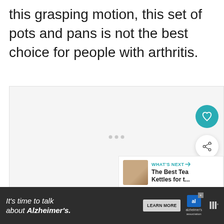this grasping motion, this set of pots and pans is not the best choice for people with arthritis.
[Figure (other): Advertisement placeholder box with three small dots in center, a teal heart/favorite button, a white share button with share icon, and a 'What's Next' panel showing a thumbnail and text 'The Best Tea Kettles for t...']
[Figure (other): Alzheimer's Association advertisement banner with dark background. Text reads: It's time to talk about Alzheimer's. Learn More button. Alzheimer's association logo and brand logo with registered mark.]